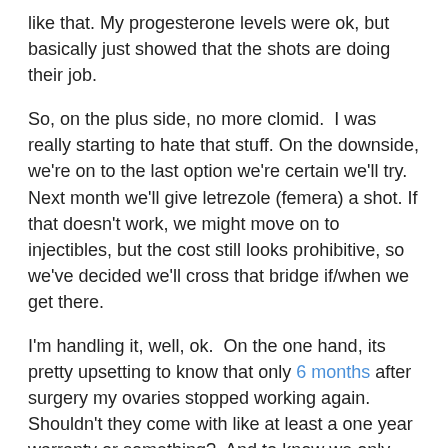like that. My progesterone levels were ok, but basically just showed that the shots are doing their job.
So, on the plus side, no more clomid. I was really starting to hate that stuff. On the downside, we're on to the last option we're certain we'll try. Next month we'll give letrezole (femera) a shot. If that doesn't work, we might move on to injectibles, but the cost still looks prohibitive, so we've decided we'll cross that bridge if/when we get there.
I'm handling it, well, ok. On the one hand, its pretty upsetting to know that only 6 months after surgery my ovaries stopped working again. Shouldn't they come with like at least a one year warranty or something? And to know we only got one month to try where I ovulated and my hormone levels were good and that didn't work out is pretty sad too. I had started to take the whole ovulating thing for granted, and now I don't know if we'll be able to get my body to ovulate again. It's crazy how quickly things change.
On the other hand, I'm a little bit relieved. It's not just because of the no more clomid thing either. Part of me really